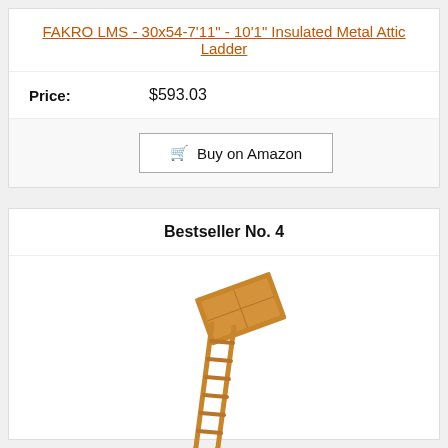FAKRO LMS - 30x54-7'11" - 10'1" Insulated Metal Attic Ladder
Price: $593.03
Buy on Amazon
Bestseller No. 4
[Figure (photo): Folding attic ladder (wooden) shown deployed at an angle from a ceiling hatch, with multiple rungs visible.]